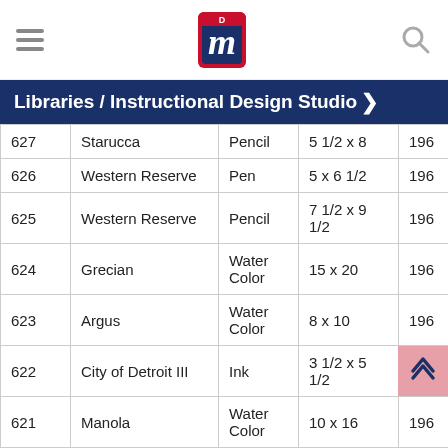Libraries / Instructional Design Studio
Libraries / Instructional Design Studio >
|  | Name | Medium | Size | Year |
| --- | --- | --- | --- | --- |
| 627 | Starucca | Pencil | 5 1/2 x 8 | 196 |
| 626 | Western Reserve | Pen | 5 x 6 1/2 | 196 |
| 625 | Western Reserve | Pencil | 7 1/2 x 9 1/2 | 196 |
| 624 | Grecian | Water Color | 15 x 20 | 196 |
| 623 | Argus | Water Color | 8 x 10 | 196 |
| 622 | City of Detroit III | Ink | 3 1/2 x 5 1/2 | 155 |
| 621 | Manola | Water Color | 10 x 16 | 196 |